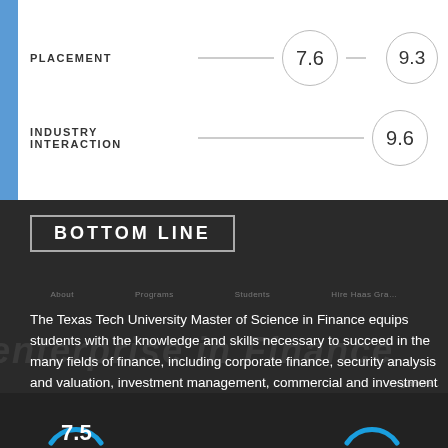PLACEMENT
7.6
9.3
INDUSTRY INTERACTION
9.6
BOTTOM LINE
The Texas Tech University Master of Science in Finance equips students with the knowledge and skills necessary to succeed in the many fields of finance, including corporate finance, security analysis and valuation, investment management, commercial and investment banking, real estate analysis and investment, and many others.